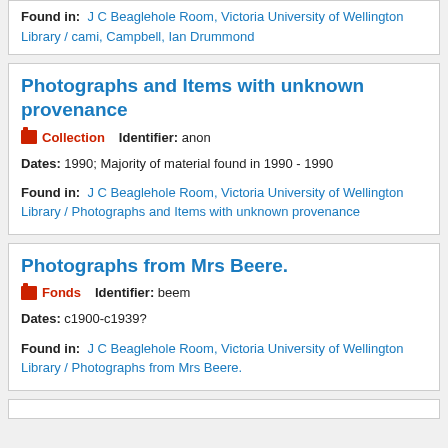Found in: J C Beaglehole Room, Victoria University of Wellington Library / cami, Campbell, Ian Drummond
Photographs and Items with unknown provenance
Collection   Identifier: anon
Dates: 1990; Majority of material found in 1990 - 1990
Found in: J C Beaglehole Room, Victoria University of Wellington Library / Photographs and Items with unknown provenance
Photographs from Mrs Beere.
Fonds   Identifier: beem
Dates: c1900-c1939?
Found in: J C Beaglehole Room, Victoria University of Wellington Library / Photographs from Mrs Beere.